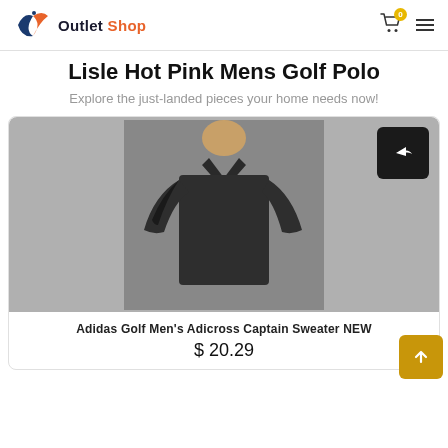Outlet Shop
Lisle Hot Pink Mens Golf Polo
Explore the just-landed pieces your home needs now!
[Figure (photo): Photo of a dark charcoal/black Adidas Golf Men's Adicross Captain Sweater, showing the upper torso and arms of a person wearing the sweater. A share icon button is overlaid in the top right of the image.]
Adidas Golf Men's Adicross Captain Sweater NEW
$ 20.29